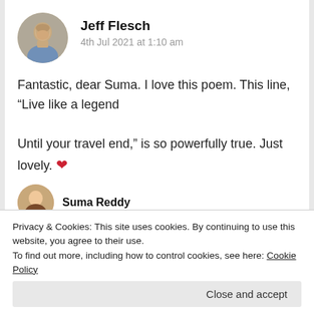Jeff Flesch
4th Jul 2021 at 1:10 am
Fantastic, dear Suma. I love this poem. This line, “Live like a legend

Until your travel end,” is so powerfully true. Just lovely. ❤
★ Liked by 2 people
Log in to Reply
Privacy & Cookies: This site uses cookies. By continuing to use this website, you agree to their use.
To find out more, including how to control cookies, see here: Cookie Policy
Close and accept
Suma Reddy